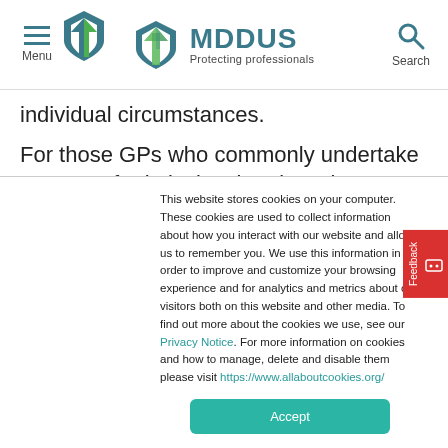Menu | MDDUS Protecting professionals | Search
individual circumstances.
For those GPs who commonly undertake a range of relatively minor invasive procedures, such as contraceptive implant or coil fitting, joint injections or
This website stores cookies on your computer. These cookies are used to collect information about how you interact with our website and allow us to remember you. We use this information in order to improve and customize your browsing experience and for analytics and metrics about our visitors both on this website and other media. To find out more about the cookies we use, see our Privacy Notice. For more information on cookies and how to manage, delete and disable them please visit https://www.allaboutcookies.org/
Accept